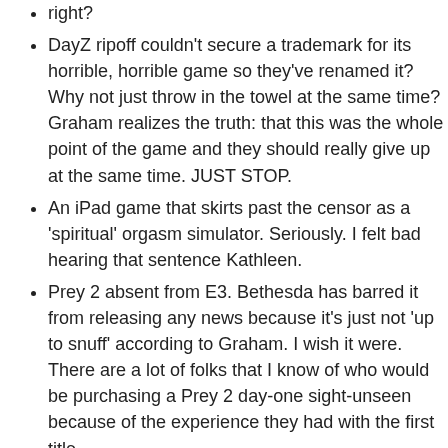right?
DayZ ripoff couldn't secure a trademark for its horrible, horrible game so they've renamed it? Why not just throw in the towel at the same time? Graham realizes the truth: that this was the whole point of the game and they should really give up at the same time. JUST STOP.
An iPad game that skirts past the censor as a 'spiritual' orgasm simulator. Seriously. I felt bad hearing that sentence Kathleen.
Prey 2 absent from E3. Bethesda has barred it from releasing any news because it's just not 'up to snuff' according to Graham. I wish it were. There are a lot of folks that I know of who would be purchasing a Prey 2 day-one sight-unseen because of the experience they had with the first title.
Vlambeer is sick of getting their games ripped off in a medium where games are ripped off on a